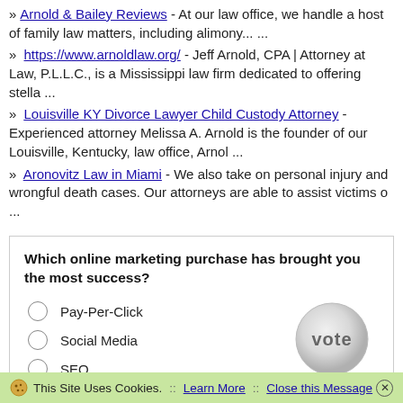» Arnold & Bailey Reviews - At our law office, we handle a host of family law matters, including alimony... ...
» https://www.arnoldlaw.org/ - Jeff Arnold, CPA | Attorney at Law, P.L.L.C., is a Mississippi law firm dedicated to offering stella ...
» Louisville KY Divorce Lawyer Child Custody Attorney - Experienced attorney Melissa A. Arnold is the founder of our Louisville, Kentucky, law office, Arnol ...
» Aronovitz Law in Miami - We also take on personal injury and wrongful death cases. Our attorneys are able to assist victims o ...
Which online marketing purchase has brought you the most success?
Pay-Per-Click
Social Media
SEO
Email Marketing
Affiliate Program
Directories
Vote
This Site Uses Cookies.  ::  Learn More  ::  Close this Message ×